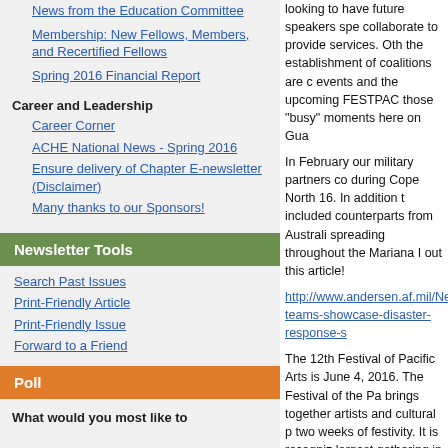News from the Education Committee
Membership: New Fellows, Members, and Recertified Fellows
Spring 2016 Financial Report
Career and Leadership
Career Corner
ACHE National News - Spring 2016
Ensure delivery of Chapter E-newsletter (Disclaimer)
Many thanks to our Sponsors!
Newsletter Tools
Search Past Issues
Print-Friendly Article
Print-Friendly Issue
Forward to a Friend
Poll
What would you most like to
looking to have future speakers spe collaborate to provide services. Oth the establishment of coalitions are c events and the upcoming FESTPAC those "busy" moments here on Gua
In February our military partners co during Cope North 16. In addition t included counterparts from Australi spreading throughout the Mariana I out this article!
http://www.andersen.af.mil/News/t teams-showcase-disaster-response-s
The 12th Festival of Pacific Arts is June 4, 2016. The Festival of the Pa brings together artists and cultural p two weeks of festivity. It is recogniz largest gathering in which Pacific p appreciation of one another. To lear
On the legislative side there are sev is Bill 277-33 that was recently intr Bill would call on the Guam Econo for Information so prospective cont transition the operation of the hospi information on this and other bills c
http://www.guamlegislature.com/in